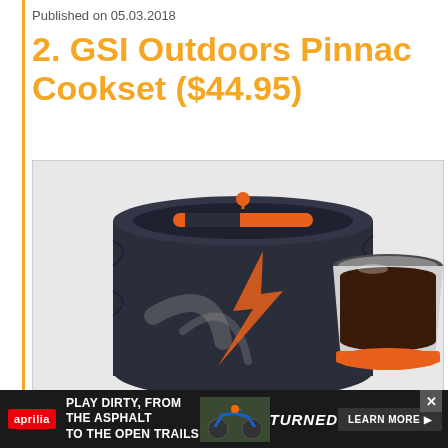Published on 05.03.2018
2. GSI Outdoors Pinnacle Cookset ($44.95)
[Figure (photo): GSI Outdoors Pinnacle Cookset product photo showing a dark navy blue insulated bag/case with orange accents and drawstring top, alongside a metal cup filled with dark liquid (coffee) on an orange base]
PLAY DIRTY, FROM THE ASPHALT TO THE OPEN TRAILS
TURNED
LEARN MORE